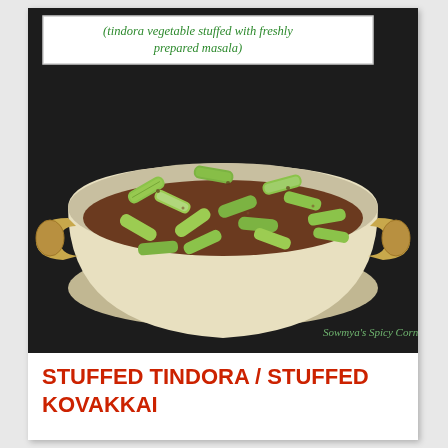(tindora vegetable stuffed with freshly prepared masala)
[Figure (photo): A kadai (Indian cooking pan) filled with stuffed tindora / kovakkai coated in brown masala spices, photographed from above on a dark background. Watermark reads Sowmya's Spicy Corner.]
STUFFED TINDORA / STUFFED KOVAKKAI